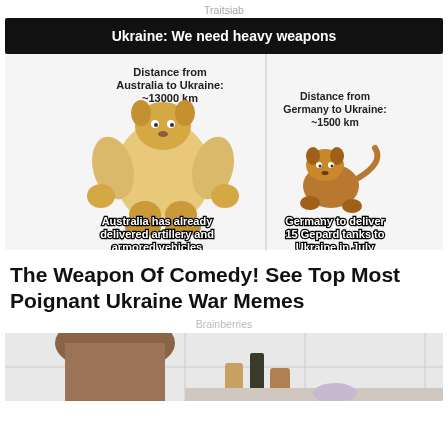Traitsiab
[Figure (infographic): Meme image with black title bar 'Ukraine: We need heavy weapons'. Left side shows muscular Doge dog with text 'Distance from Australia to Ukraine: ~13000 km' above and 'Australia has already delivered artillery and armored vehicles' below. Right side shows small Doge dog with text 'Distance from Germany to Ukraine: ~1500 km' above and 'Germany to deliver 15 Gepard tanks to Ukraine in July' below.]
The Weapon Of Comedy! See Top Most Poignant Ukraine War Memes
Brainberries
[Figure (photo): Photo of a woman with long hair, bathroom counter with bottles and skincare products visible in background with white tile wall.]